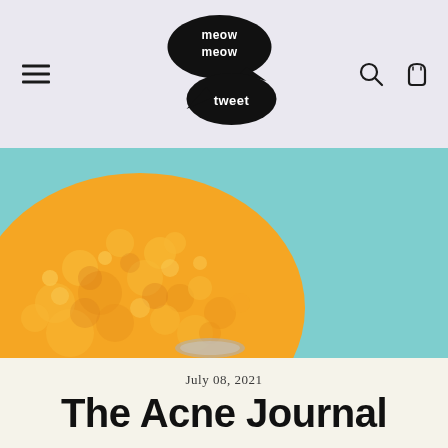meow meow tweet — navigation header with hamburger menu, logo, search and cart icons
[Figure (photo): Close-up photo of a bumpy orange citrus fruit (likely an ugly lemon/citron) against a teal/mint background]
July 08, 2021
The Acne Journal